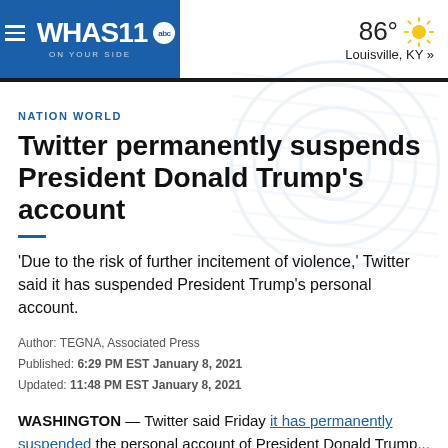WHAS11 abc ON YOUR SIDE | 86° Louisville, KY »
NATION WORLD
Twitter permanently suspends President Donald Trump's account
'Due to the risk of further incitement of violence,' Twitter said it has suspended President Trump's personal account.
Author: TEGNA, Associated Press
Published: 6:29 PM EST January 8, 2021
Updated: 11:48 PM EST January 8, 2021
WASHINGTON — Twitter said Friday it has permanently suspended the personal account of President Donald Trump...